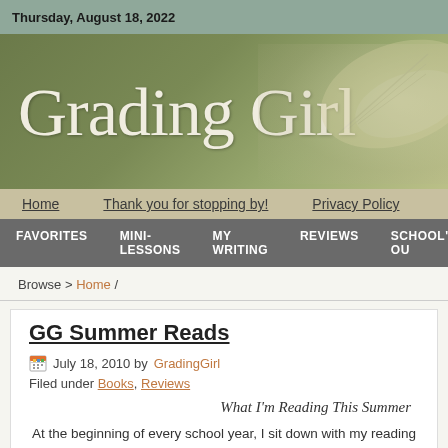Thursday, August 18, 2022
[Figure (illustration): Grading Girl blog banner with olive/green gradient background and decorative paper/writing imagery]
Grading Girl
Home   Thank you for stopping by!   Privacy Policy
FAVORITES   MINI-LESSONS   MY WRITING   REVIEWS   SCHOOL'S OUT
Browse > Home /
GG Summer Reads
July 18, 2010 by GradingGirl
Filed under Books, Reviews
What I'm Reading This Summer
At the beginning of every school year, I sit down with my reading students with our desks or on the floor – and I share every single book I read over single book in and give a little book talk on each one. Regardless of whe and/or appropriate for them is irrelevant. My goal is simply for them to s